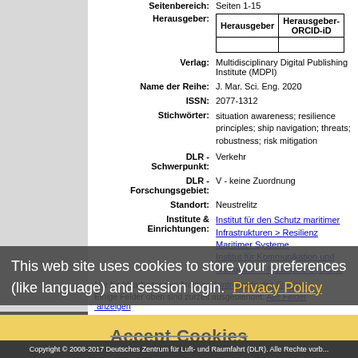| Herausgeber | Herausgeber-ORCID-iD |
| --- | --- |
|  |
Seitenbereich: Seiten 1-15
Herausgeber:
Verlag: Multidisciplinary Digital Publishing Institute (MDPI)
Name der Reihe: J. Mar. Sci. Eng. 2020
ISSN: 2077-1312
Stichwörter: situation awareness; resilience principles; ship navigation; threats; robustness; risk mitigation
DLR - Schwerpunkt: Verkehr
DLR - Forschungsgebiet: V - keine Zuordnung
Standort: Neustrelitz
Institute & Einrichtungen: Institut für den Schutz maritimer Infrastrukturen > Resilienz Maritimer Systeme; Institut für Kommunikation und Navigation > Nautische Systeme
Nur für Mitarbeiter des Archivs: Kontrollseite des Eintrags
Einige Felder oben sind zurzeit ausgeblendet: Alle Felder anzeigen
electronic library verwendet EPrints 3.3.12
This web site uses cookies to store your preferences (like language) and session login. Privacy Policy
Accept Cookies
Copyright © 2008-2017 Deutsches Zentrum für Luft- und Raumfahrt (DLR). Alle Rechte vorbehalten.